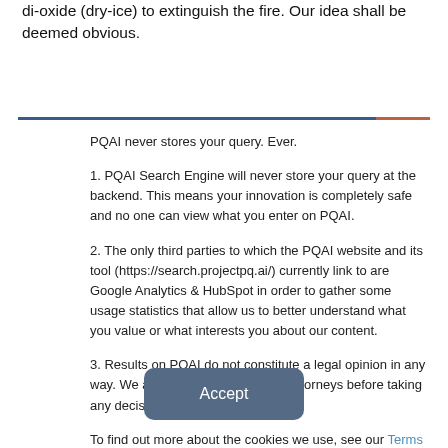di-oxide (dry-ice) to extinguish the fire. Our idea shall be deemed obvious.
PQAI never stores your query. Ever.
1. PQAI Search Engine will never store your query at the backend. This means your innovation is completely safe and no one can view what you enter on PQAI.
2. The only third parties to which the PQAI website and its tool (https://search.projectpq.ai/) currently link to are Google Analytics & HubSpot in order to gather some usage statistics that allow us to better understand what you value or what interests you about our content.
3. Results on PQAI do not constitute a legal opinion in any way. We advise you to talk to your attorneys before taking any decision.
To find out more about the cookies we use, see our Terms and Conditions.